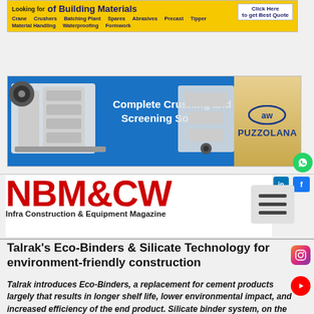[Figure (infographic): Yellow banner advertisement: Looking for Building Materials with keywords like Crane, Crushers, Batching Plant, Spares, Abrasives, Precast, Tipper, Material Handling, Waterproofing, Formwork. Click Here to get Best Quote button on right.]
[Figure (infographic): Blue banner advertisement for PUZZOLANA - Complete Crushing and Screening Solutions, showing heavy machinery images on blue background with golden gradient.]
[Figure (logo): NBM&CW - Infra Construction & Equipment Magazine logo in red bold text with hamburger menu icon.]
Talrak's Eco-Binders & Silicate Technology for environment-friendly construction
Talrak introduces Eco-Binders, a replacement for cement products largely that results in longer shelf life, lower environmental impact, and increased efficiency of the end product. Silicate binder system, on the other hand, protects concrete surfaces from